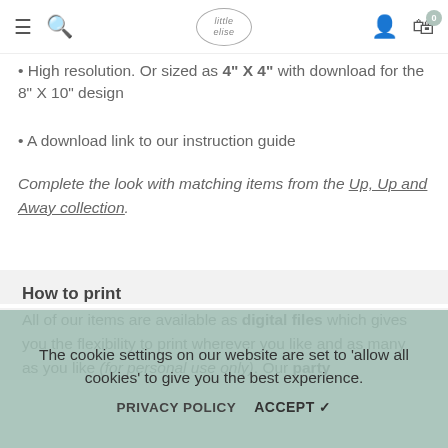Navigation bar with hamburger menu, search icon, little Elise logo, user icon, and cart (0)
High resolution. Or sized as 4" x 4" with download for the 8" X 10" design
A download link to our instruction guide
Complete the look with matching items from the Up, Up and Away collection.
How to print
All of our items are available as digital files which gives you the flexibility to print wherever you like and as many as you like (for personal use only). Our party
The cookie settings on our website are set to 'allow all cookies' to give you the best experience.
PRIVACY POLICY   ACCEPT ✔